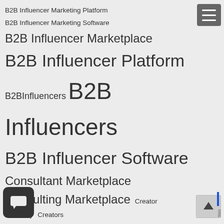[Figure (infographic): Tag cloud of B2B influencer marketing related keywords in varying font sizes indicating relative frequency/importance. Tags include: B2B Influencer Marketing Platform, B2B Influencer Marketing Software, B2B Influencer Marketplace, B2B Influencer Platform, B2BInfluencers, B2B Influencers (largest), B2B Influencer Software, Consultant Marketplace, Consulting Marketplace, Creator Economy, Creators, Discover Experts, Discover Influencers, Expert Discovery, Expert Marketing, Expert Marketplace, Find B2B Influencers, Find Experts (very large), Find Freelancers, Find Influencers, Find Thought Leaders, Global Gurus, Global Thought Leaders, Influencer Interview, Influencer Interviews, Influencer Marketing, Influencer Marketing Agency Dallas]